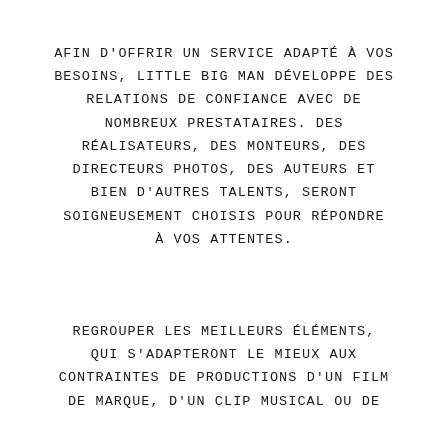AFIN D'OFFRIR UN SERVICE ADAPTÉ À VOS BESOINS, LITTLE BIG MAN DÉVELOPPE DES RELATIONS DE CONFIANCE AVEC DE NOMBREUX PRESTATAIRES. DES RÉALISATEURS, DES MONTEURS, DES DIRECTEURS PHOTOS, DES AUTEURS ET BIEN D'AUTRES TALENTS, SERONT SOIGNEUSEMENT CHOISIS POUR RÉPONDRE À VOS ATTENTES.
REGROUPER LES MEILLEURS ÉLÉMENTS, QUI S'ADAPTERONT LE MIEUX AUX CONTRAINTES DE PRODUCTIONS D'UN FILM DE MARQUE, D'UN CLIP MUSICAL OU DE